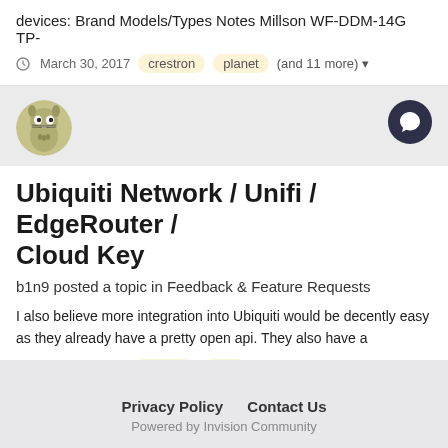devices: Brand Models/Types Notes Millson WF-DDM-14G TP-
March 30, 2017  crestron  planet  (and 11 more)
[Figure (illustration): Totoro cartoon avatar thumbnail]
Ubiquiti Network / Unifi / EdgeRouter / Cloud Key
b1n9 posted a topic in Feedback & Feature Requests
I also believe more integration into Ubiquiti would be decently easy as they already have a pretty open api. They also have a
August 7, 2016  ubiquiti  unifi
Privacy Policy   Contact Us
Powered by Invision Community